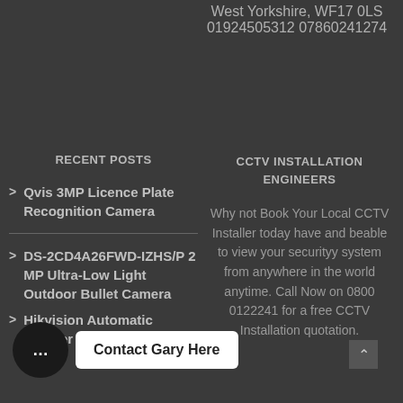West Yorkshire, WF17 0LS, 01924505312, 07860241274
RECENT POSTS
> Qvis 3MP Licence Plate Recognition Camera
> DS-2CD4A26FWD-IZHS/P 2 MP Ultra-Low Light Outdoor Bullet Camera
> Hikvision Automatic number plate
CCTV INSTALLATION ENGINEERS
Why not Book Your Local CCTV Installer today have and beable to view your securityy system from anywhere in the world anytime. Call Now on 0800 0122241 for a free CCTV Installation quotation.
Contact Gary Here